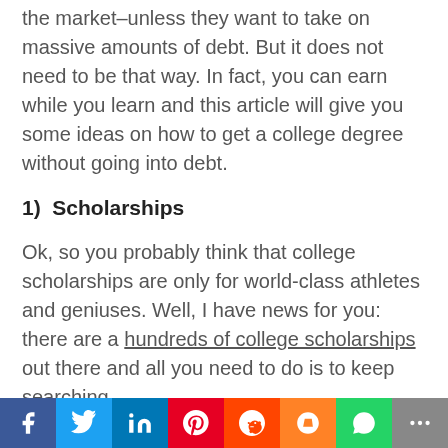the market–unless they want to take on massive amounts of debt. But it does not need to be that way. In fact, you can earn while you learn and this article will give you some ideas on how to get a college degree without going into debt.
1)  Scholarships
Ok, so you probably think that college scholarships are only for world-class athletes and geniuses. Well, I have news for you: there are a hundreds of college scholarships out there and all you need to do is to keep searching.
Maybe it is a scholarship that helps to attract students to a certain area of study or maybe your community has a